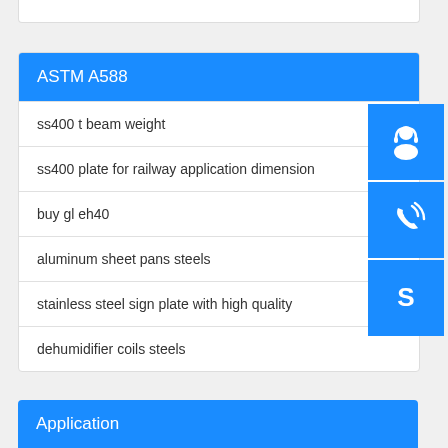ASTM A588
ss400 t beam weight
ss400 plate for railway application dimension
buy gl eh40
aluminum sheet pans steels
stainless steel sign plate with high quality
dehumidifier coils steels
Application